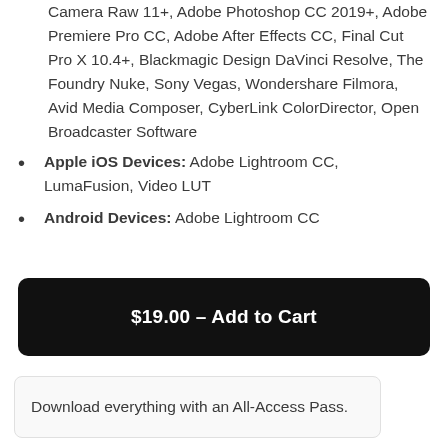Camera Raw 11+, Adobe Photoshop CC 2019+, Adobe Premiere Pro CC, Adobe After Effects CC, Final Cut Pro X 10.4+, Blackmagic Design DaVinci Resolve, The Foundry Nuke, Sony Vegas, Wondershare Filmora, Avid Media Composer, CyberLink ColorDirector, Open Broadcaster Software
Apple iOS Devices: Adobe Lightroom CC, LumaFusion, Video LUT
Android Devices: Adobe Lightroom CC
$19.00 – Add to Cart
Download everything with an All-Access Pass.